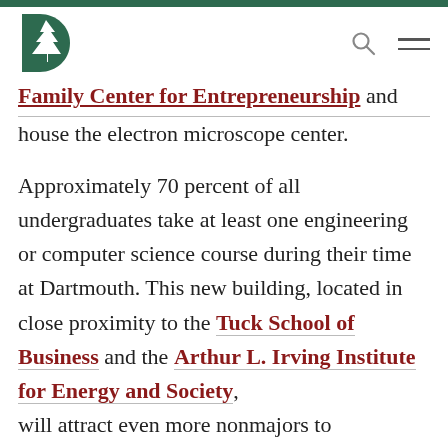[Figure (logo): Dartmouth College pine tree logo in green]
Family Center for Entrepreneurship and house the electron microscope center.
Approximately 70 percent of all undergraduates take at least one engineering or computer science course during their time at Dartmouth. This new building, located in close proximity to the Tuck School of Business and the Arthur L. Irving Institute for Energy and Society, will attract even more nonmajors to